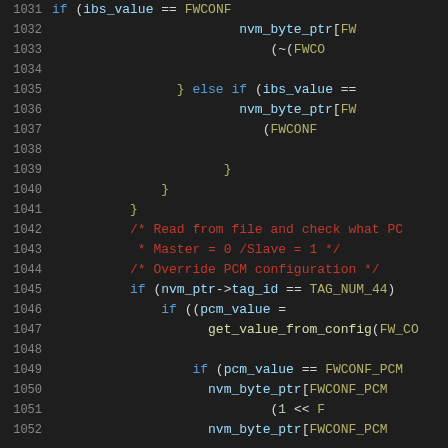[Figure (screenshot): Source code listing in a dark IDE, lines 1031-1052, showing C code with syntax highlighting. Keywords in blue, comments in red, macros in yellow-green, variables in light blue.]